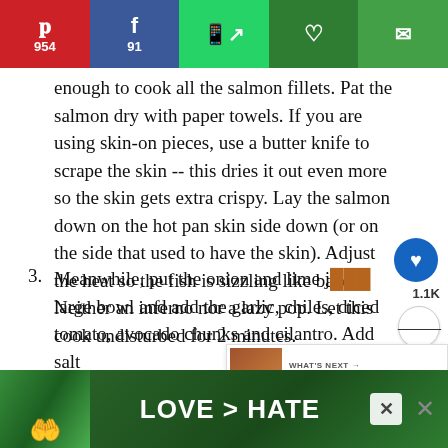Social share bar: Pinterest 954, Facebook 91, WhatsApp, Heart, Email
enough to cook all the salmon fillets. Pat the salmon dry with paper towels. If you are using skin-on pieces, use a butter knife to scrape the skin -- this dries it out even more so the skin gets extra crispy. Lay the salmon down on the hot pan skin side down (or on the side that used to have the skin). Adjust the heat so the fish is sizzling like bacon: Neither an inferno nor a lazy pop. Let this cook undisturbed for 2 minutes.
3. Meanwhile, put the onion and lime j... large bowl and add the garlic, chiles, diced tomato, avocado chunks and cilantro. Add salt
[Figure (photo): Advertisement banner showing hands making a heart shape with text LOVE > HATE on a green background]